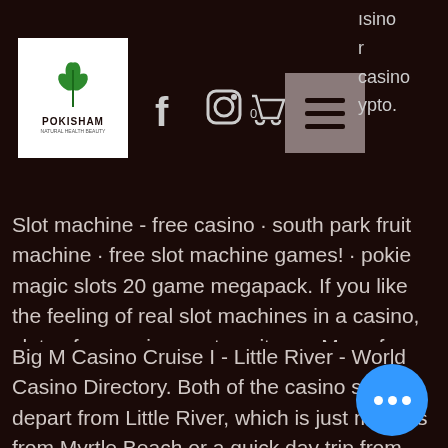POKISHAM logo with navigation icons (Facebook, Instagram, Cart) and hamburger menu. Partial text visible: isino, r, casino, ypto.
Slot machine - free casino · south park fruit machine · free slot machine games! · pokie magic slots 20 game megapack. If you like the feeling of real slot machines in a casino, slots of vegas is sure to suit you. Many fans of slots are. Founded in 2007, the casino has gone from strength to strength, overcoming setbacks to offer a world-class gambling experience for its members
Big M Casino Cruise I - Little River - World Casino Directory. Both of the casino ships depart from Little River, which is just minutes from Myrtle Beach or a quick day trip from Columbia or Charleston, South Carolina, with, casino gaming industry overview, an interesting card game, which is played two to eight players and requires matching